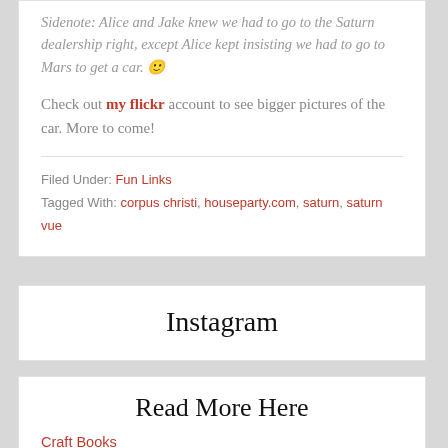Sidenote: Alice and Jake knew we had to go to the Saturn dealership right, except Alice kept insisting we had to go to Mars to get a car. 🙂
Check out my flickr account to see bigger pictures of the car. More to come!
Filed Under: Fun Links
Tagged With: corpus christi, houseparty.com, saturn, saturn vue
Instagram
Read More Here
Craft Books